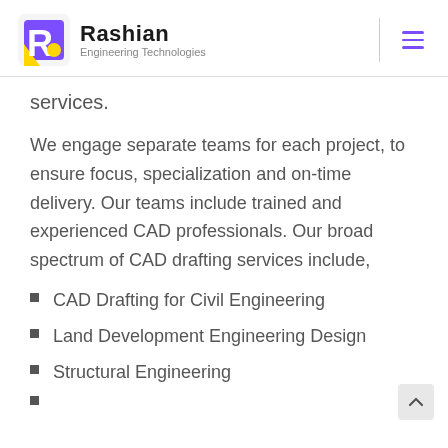Rashian Engineering Technologies
services.
We engage separate teams for each project, to ensure focus, specialization and on-time delivery. Our teams include trained and experienced CAD professionals. Our broad spectrum of CAD drafting services include,
CAD Drafting for Civil Engineering
Land Development Engineering Design
Structural Engineering